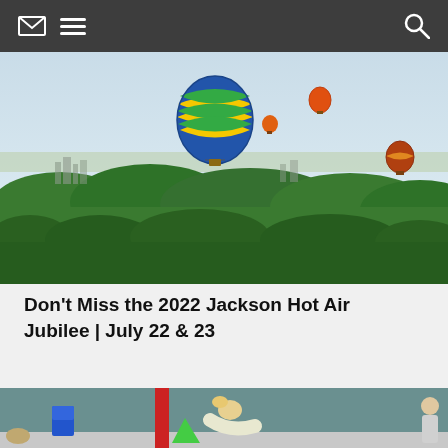Navigation bar with envelope icon, hamburger menu, and search icon
[Figure (photo): Aerial photograph of hot air balloons floating above a green forested cityscape. A large blue, yellow, and green chevron-patterned balloon is prominent in the center, with two smaller balloons visible in the background. City buildings are visible on the horizon.]
Don’t Miss the 2022 Jackson Hot Air Jubilee | July 22 & 23
[Figure (photo): Partial view of an indoor gymnasium or activity room. A blonde person is bending forward near blue gymnastics mats. A red pole and teal wall are visible. Other people are visible at the right edge of the frame.]